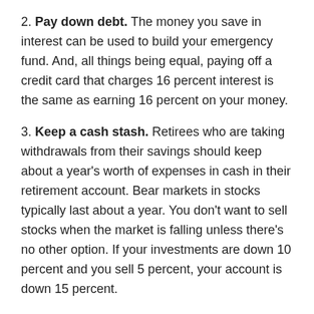2. Pay down debt. The money you save in interest can be used to build your emergency fund. And, all things being equal, paying off a credit card that charges 16 percent interest is the same as earning 16 percent on your money.
3. Keep a cash stash. Retirees who are taking withdrawals from their savings should keep about a year’s worth of expenses in cash in their retirement account. Bear markets in stocks typically last about a year. You don’t want to sell stocks when the market is falling unless there’s no other option. If your investments are down 10 percent and you sell 5 percent, your account is down 15 percent.
4. Stay safe. Most cash options pay little to nothing in interest. Money market mutual funds, a typical cash option in brokerage accounts, currently pay 0.61 percent in interest. That’s not much, but it’s better than a 20 to 30 percent loss from stocks in a bear market. If you take cash withdrawals from your retirement account during a bear